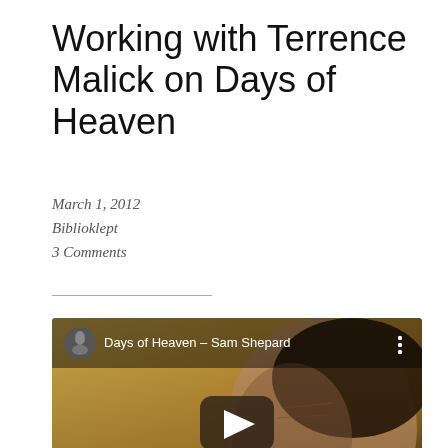Working with Terrence Malick on Days of Heaven
March 1, 2012
Biblioklept
3 Comments
[Figure (screenshot): YouTube video thumbnail showing Sam Shepard in a dark scene. Title bar reads 'Days of Heaven – Sam Shepard' with YouTube-style play button overlay.]